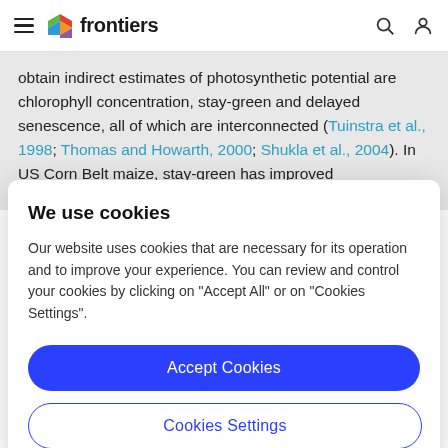frontiers
obtain indirect estimates of photosynthetic potential are chlorophyll concentration, stay-green and delayed senescence, all of which are interconnected (Tuinstra et al., 1998; Thomas and Howarth, 2000; Shukla et al., 2004). In US Corn Belt maize, stay-green has improved
We use cookies
Our website uses cookies that are necessary for its operation and to improve your experience. You can review and control your cookies by clicking on "Accept All" or on "Cookies Settings".
Accept Cookies
Cookies Settings